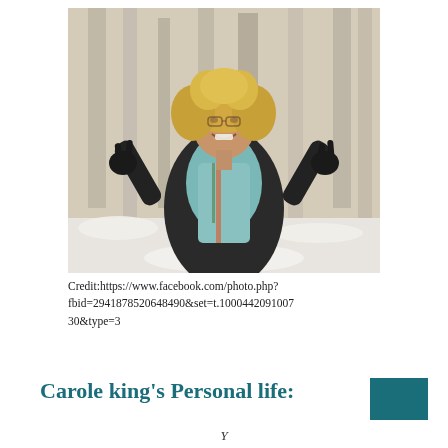[Figure (photo): A woman with curly blonde hair wearing a black jacket and light blue/teal scarf, making peace signs with both hands, standing in front of bare winter trees with snow on the ground.]
Credit:https://www.facebook.com/photo.php?fbid=2941878520648490&set=t.100044209100730&type=3
Carole king's Personal life: